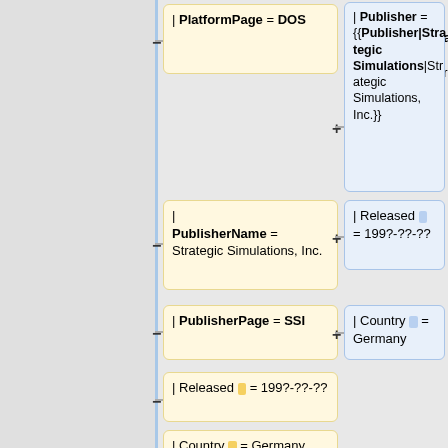[Figure (flowchart): Flowchart/diff view showing wiki template parameters. Left column has yellow boxes with fields: PlatformPage=DOS, PublisherName=Strategic Simulations Inc, PublisherPage=SSI, Released=199?-??-??, Country=Germany, }}. Right column has blue boxes with fields: Publisher={{Publisher|Strategic Simulations|Strategic Simulations, Inc.}}, Released=199?-??-??, Country=Germany, }}. Connected by minus and plus connectors on a vertical blue line.]